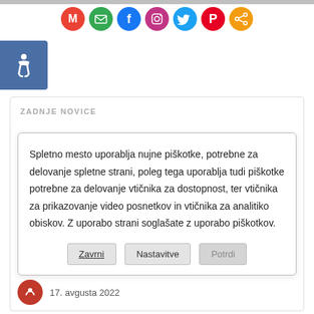[Figure (infographic): Row of social media sharing icons: Gmail (red), email (green), Facebook (blue), Instagram (gradient pink/purple), Twitter (blue), Pinterest (red), Share (orange)]
[Figure (infographic): Blue accessibility wheelchair icon button on left side]
ZADNJE NOVICE
Spletno mesto uporablja nujne piškotke, potrebne za delovanje spletne strani, poleg tega uporablja tudi piškotke potrebne za delovanje vtičnika za dostopnost, ter vtičnika za prikazovanje video posnetkov in vtičnika za analitiko obiskov. Z uporabo strani soglašate z uporabo piškotkov.
Zavrni  Nastavitve  Potrdi
17. avgusta 2022